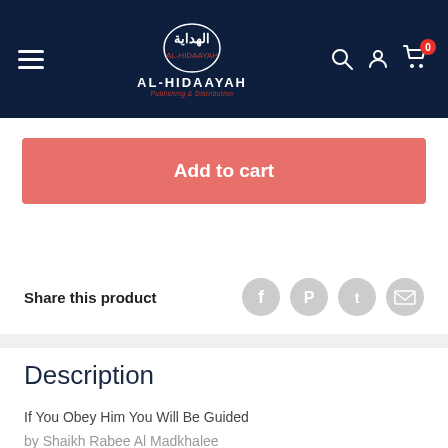AL-HIDAAYAH Publishing & Distribution
Add to cart
Share this product
Description
If You Obey Him You Will Be Guided
by Shaikh Rabee Al Madkhalee